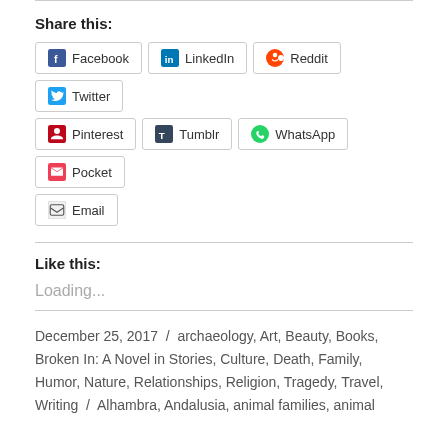Share this:
Facebook
LinkedIn
Reddit
Twitter
Pinterest
Tumblr
WhatsApp
Pocket
Email
Like this:
Loading...
December 25, 2017 / archaeology, Art, Beauty, Books, Broken In: A Novel in Stories, Culture, Death, Family, Humor, Nature, Relationships, Religion, Tragedy, Travel, Writing / Alhambra, Andalusia, animal families, animal